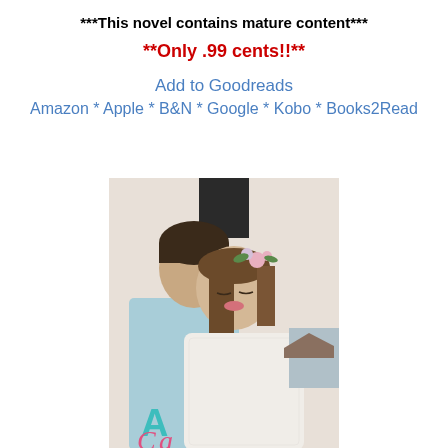***This novel contains mature content***
**Only .99 cents!!**
Add to Goodreads
Amazon * Apple * B&N * Google * Kobo * Books2Read
[Figure (photo): Book cover image showing a couple — a man resting his chin near a woman's shoulder, the woman wearing a flower crown, with teal text beginning 'A' visible at the bottom of the cover.]